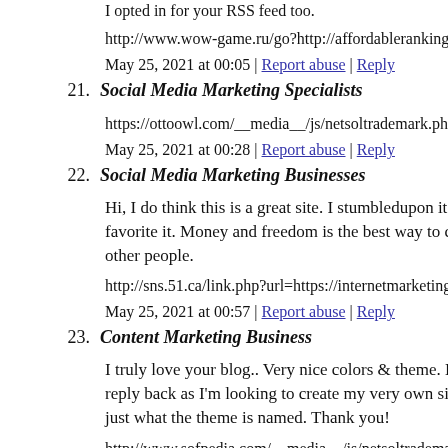I opted in for your RSS feed too.
http://www.wow-game.ru/go?http://affordableranking.com
May 25, 2021 at 00:05 | Report abuse | Reply
21. Social Media Marketing Specialists
https://ottoowl.com/__media__/js/netsoltrademark.php?d=affo
May 25, 2021 at 00:28 | Report abuse | Reply
22. Social Media Marketing Businesses
Hi, I do think this is a great site. I stumbledupon it 😉 I will re favorite it. Money and freedom is the best way to change, may other people.
http://sns.51.ca/link.php?url=https://internetmarketingsupply.c
May 25, 2021 at 00:57 | Report abuse | Reply
23. Content Marketing Business
I truly love your blog.. Very nice colors & theme. Did you buil reply back as I'm looking to create my very own site and want just what the theme is named. Thank you!
http://www.sofpedia.com/__media__/js/netsoltrademark.php?d